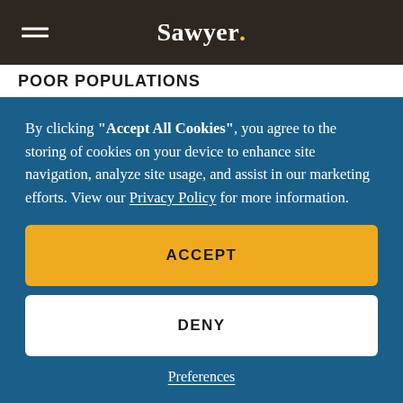Sawyer
POOR POPULATIONS
By clicking "Accept All Cookies", you agree to the storing of cookies on your device to enhance site navigation, analyze site usage, and assist in our marketing efforts. View our Privacy Policy for more information.
ACCEPT
DENY
Preferences